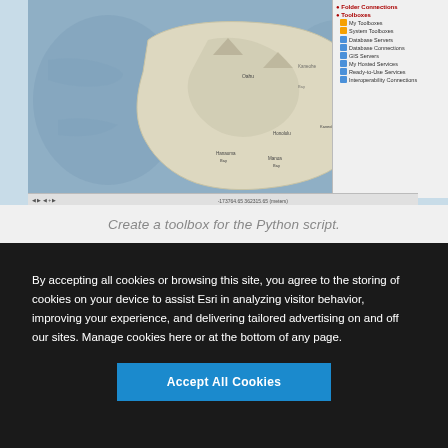[Figure (screenshot): ArcGIS desktop application screenshot showing a topographic/bathymetric map of Hawaii (Big Island) with blue ocean surroundings, a layer panel on the left showing 'Populated Areas' and 'Basemaps', and a Catalog/Toolbox panel on the right listing items like My Toolboxes, System Toolboxes, Database Servers, Database Connections, GIS Servers, My Hosted Services, Ready-to-Use Services, Interoperability Connections.]
Create a toolbox for the Python script.
[Figure (screenshot): Cookie consent overlay on a dark background reading: 'By accepting all cookies or browsing this site, you agree to the storing of cookies on your device to assist Esri in analyzing visitor behavior, improving your experience, and delivering tailored advertising on and off our sites. Manage cookies here or at the bottom of any page.' with an 'Accept All Cookies' blue button.]